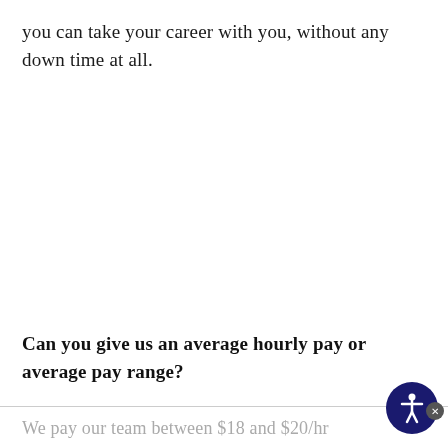you can take your career with you, without any down time at all.
Can you give us an average hourly pay or average pay range?
We pay our team between $18 and $20/hr